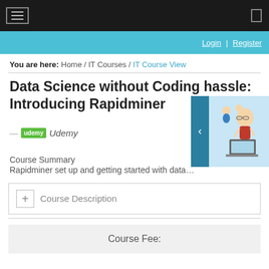Navigation bar with hamburger menu
Login | Register
You are here: Home / IT Courses / IT Course View
Data Science without Coding hassle: Introducing Rapidminer
Udemy
Course Summary
Rapidminer set up and getting started with data pro...
Course Description
Course Fee: